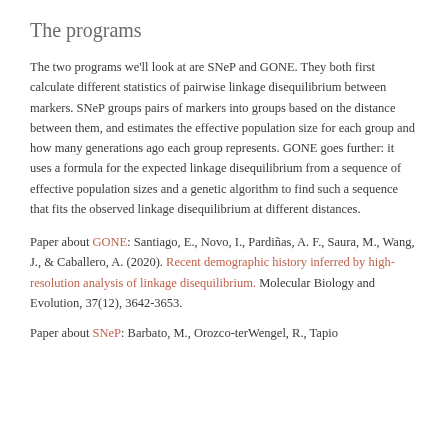The programs
The two programs we'll look at are SNeP and GONE. They both first calculate different statistics of pairwise linkage disequilibrium between markers. SNeP groups pairs of markers into groups based on the distance between them, and estimates the effective population size for each group and how many generations ago each group represents. GONE goes further: it uses a formula for the expected linkage disequilibrium from a sequence of effective population sizes and a genetic algorithm to find such a sequence that fits the observed linkage disequilibrium at different distances.
Paper about GONE: Santiago, E., Novo, I., Pardiñas, A. F., Saura, M., Wang, J., & Caballero, A. (2020). Recent demographic history inferred by high-resolution analysis of linkage disequilibrium. Molecular Biology and Evolution, 37(12), 3642-3653.
Paper about SNeP: Barbato, M., Orozco-terWengel, R., Tapio...